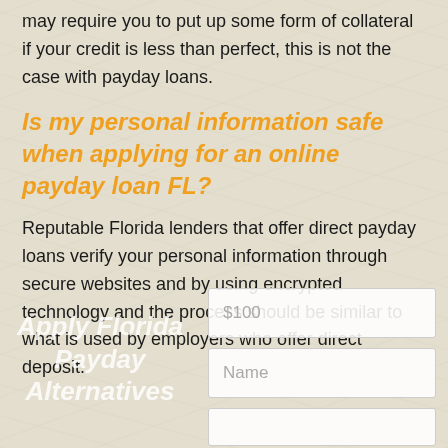may require you to put up some form of collateral if your credit is less than perfect, this is not the case with payday loans.
Is my personal information safe when applying for an online payday loan FL?
Reputable Florida lenders that offer direct payday loans verify your personal information through secure websites and by using encrypted technology and the process should be similar to what is used by employers who offer direct deposit.
Apply Florida Payday Alternatives
$100
Name